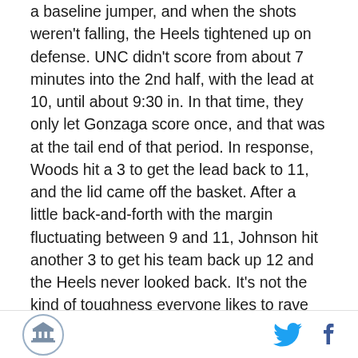a baseline jumper, and when the shots weren't falling, the Heels tightened up on defense. UNC didn't score from about 7 minutes into the 2nd half, with the lead at 10, until about 9:30 in. In that time, they only let Gonzaga score once, and that was at the tail end of that period. In response, Woods hit a 3 to get the lead back to 11, and the lid came off the basket. After a little back-and-forth with the margin fluctuating between 9 and 11, Johnson hit another 3 to get his team back up 12 and the Heels never looked back. It's not the kind of toughness everyone likes to rave about after a come-from-behind win, but the ability to withstand threats like that throughout the game and never really be in danger was a step towards the kind of tenacity you need to win
[logo] [twitter] [facebook]